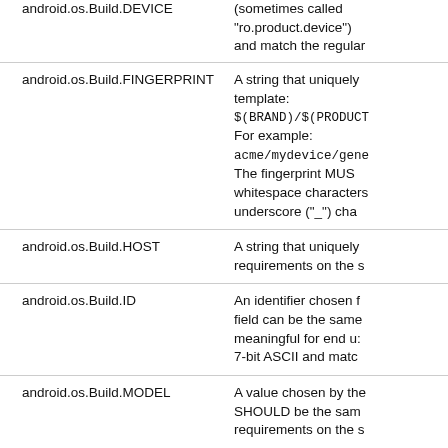android.os.Build.DEVICE
(sometimes called "ro.product.device") and match the regular expression [a-zA-Z0-9_-].
android.os.Build.FINGERPRINT
A string that uniquely identifies this build. The value MUST follow this template: $(BRAND)/$(PRODUCT)/$(DEVICE):$(VERSION.RELEASE)/$(ID)/$(VERSION.INCREMENTAL):$(TYPE)/$(TAGS) For example: acme/mydevice/generic:2.2/FRF85B/112233:userdebug/test-keys. The fingerprint MUST NOT include whitespace characters. If other fields included in the template have whitespace characters, SHOULD replace them in the fingerprint with another character, such as the underscore ("_") character.
android.os.Build.HOST
A string that uniquely identifies the host the build was built on, in human-readable format. There are no requirements on the specific format of this field.
android.os.Build.ID
An identifier chosen by the device implementer to refer to a specific release, in human-readable format. This field can be the same as android.os.Build.VERSION.INCREMENTAL, but SHOULD be a value sufficiently meaningful for end users to distinguish between software builds. This value MUST be encodable as 7-bit ASCII and match the regular expression [a-zA-Z0-9._-].
android.os.Build.MODEL
A value chosen by the device implementer containing the name of the device as known to the end user. This SHOULD be the same name under which the device is marketed and sold to end users. There are no specific requirements on the format of this field, except that it MUST NOT be null or the empty string.
android.os.Build.PRODUCT
A value chosen by the device implementer containing the development name or code name of the product (SKU). MUST be human-readable, but is not necessarily intended for view by end users. This value MUST NOT be null or the empty string, and MUST be encodable as 7-bit ASCII.
android.os.Build.TAGS
A comma-separated list of tags chosen by the device implementer that further distinguishes the build. For example, "unsigned,debug". This field MUST be encodable as 7-bit ASCII.